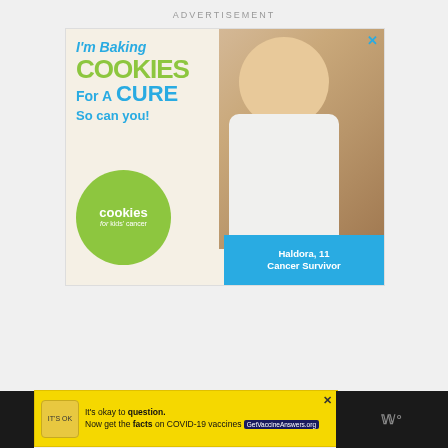ADVERTISEMENT
[Figure (photo): Advertisement for Cookies for Kids Cancer showing a smiling young girl holding cookies. Text reads: I'm Baking COOKIES For A CURE So can you! with cookies for kids' cancer logo and 'Haldora, 11 Cancer Survivor' label in teal banner.]
[Figure (photo): Second advertisement banner: It's okay to question. Now get the facts on COVID-19 vaccines. GetVaccineAnswers.org]